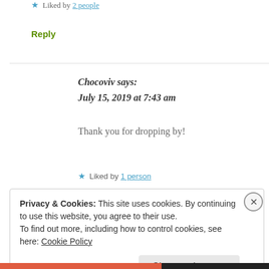★ Liked by 2 people
Reply
Chocoviv says:
July 15, 2019 at 7:43 am
Thank you for dropping by!
★ Liked by 1 person
Privacy & Cookies: This site uses cookies. By continuing to use this website, you agree to their use.
To find out more, including how to control cookies, see here: Cookie Policy
Close and accept